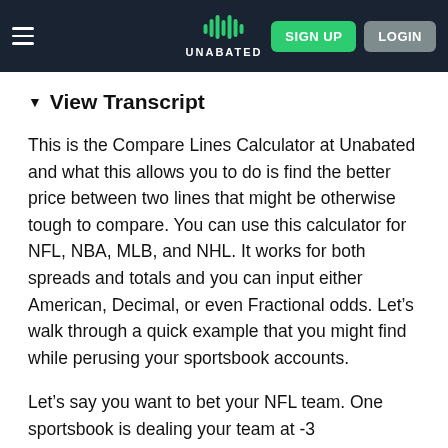UNABATED — SIGN UP | LOGIN
▾ View Transcript
This is the Compare Lines Calculator at Unabated and what this allows you to do is find the better price between two lines that might be otherwise tough to compare. You can use this calculator for NFL, NBA, MLB, and NHL. It works for both spreads and totals and you can input either American, Decimal, or even Fractional odds. Let's walk through a quick example that you might find while perusing your sportsbook accounts.
Let's say you want to bet your NFL team. One sportsbook is dealing your team at -3